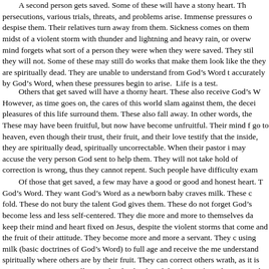A second person gets saved. Some of these will have a stony heart. Th persecutions, various trials, threats, and problems arise. Immense pressures o despise them. Their relatives turn away from them. Sickness comes on them midst of a violent storm with thunder and lightning and heavy rain, or overw mind forgets what sort of a person they were when they were saved. They stil they will not. Some of these may still do works that make them look like the they are spiritually dead. They are unable to understand from God's Word t accurately by God's Word, when these pressures begin to arise. Life is a test.
Others that get saved will have a thorny heart. These also receive God's W However, as time goes on, the cares of this world slam against them, the decei pleasures of this life surround them. These also fall away. In other words, the These may have been fruitful, but now have become unfruitful. Their mind f go to heaven, even though their trust, their fruit, and their love testify that the inside, they are spiritually dead, spiritually uncorrectable. When their pastor i may accuse the very person God sent to help them. They will not take hold of correction is wrong, thus they cannot repent. Such people have difficulty exam
Of those that get saved, a few may have a good or good and honest heart. T God's Word. They want God's Word as a newborn baby craves milk. These c fold. These do not bury the talent God gives them. These do not forget God's become less and less self-centered. They die more and more to themselves da keep their mind and heart fixed on Jesus, despite the violent storms that come and the fruit of their attitude. They become more and more a servant. They c using milk (basic doctrines of God's Word) to full age and receive the me understand spiritually where others are by their fruit. They can correct others wrath, as it is written: Mt 26:31…I will smite the shepherd, and the sheep of wind storms and the huge floods. The world hated them. They lost friends, re